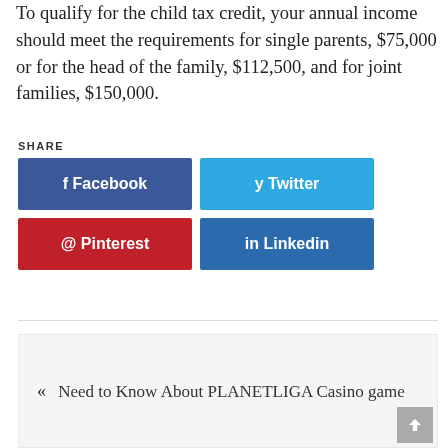To qualify for the child tax credit, your annual income should meet the requirements for single parents, $75,000 or for the head of the family, $112,500, and for joint families, $150,000.
SHARE
Share buttons: Facebook, Twitter, Pinterest, Linkedin
« Need to Know About PLANETLIGA Casino game